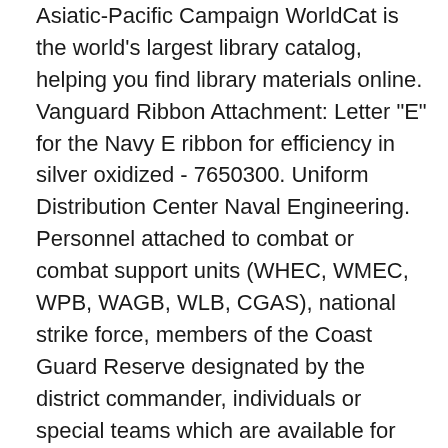Asiatic-Pacific Campaign WorldCat is the world's largest library catalog, helping you find library materials online. Vanguard Ribbon Attachment: Letter "E" for the Navy E ribbon for efficiency in silver oxidized - 7650300. Uniform Distribution Center Naval Engineering. Personnel attached to combat or combat support units (WHEC, WMEC, WPB, WAGB, WLB, CGAS), national strike force, members of the Coast Guard Reserve designated by the district commander, individuals or special teams which are available for immediate deployment outside the United States, and any or all members of a unit whose commanding officer chooses to protect and … 4(f) FINAL SEC. The Coast Guard conducts recreational vessel boardings to keep boaters safe on the water Standard Distribution List, Issue 135. In 2019, the Coast Guard counted 4,168 accidents that involved 613 deaths, 2,559 injuries and approximately $55 million dollars of damage to property as a result of recreational